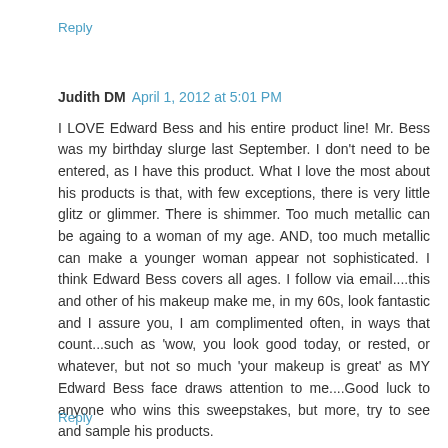Reply
Judith DM  April 1, 2012 at 5:01 PM
I LOVE Edward Bess and his entire product line! Mr. Bess was my birthday slurge last September. I don't need to be entered, as I have this product. What I love the most about his products is that, with few exceptions, there is very little glitz or glimmer. There is shimmer. Too much metallic can be againg to a woman of my age. AND, too much metallic can make a younger woman appear not sophisticated. I think Edward Bess covers all ages. I follow via email....this and other of his makeup make me, in my 60s, look fantastic and I assure you, I am complimented often, in ways that count...such as 'wow, you look good today, or rested, or whatever, but not so much 'your makeup is great' as MY Edward Bess face draws attention to me....Good luck to anyone who wins this sweepstakes, but more, try to see and sample his products.
Reply